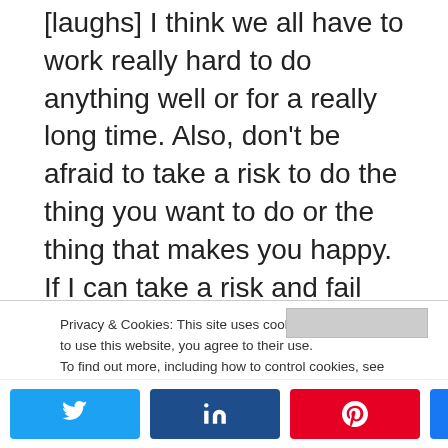[laughs] I think we all have to work really hard to do anything well or for a really long time. Also, don't be afraid to take a risk to do the thing you want to do or the thing that makes you happy. If I can take a risk and fail out of art school to make a living doing this, then anyone who is willing to keep plugging away and trying can do whatever it is they love. Obviously, there are varying degrees. I'm not a huge movie star but I didn't want to be. I'm happy to be doing what I'm doing. I'm lucky and fortunate to be able to do it! Don't be afraid to work hard, take a risk and take that
Privacy & Cookies: This site uses cookies. By continuing to use this website, you agree to their use. To find out more, including how to control cookies, see here: Cookie Policy
0 SHARES